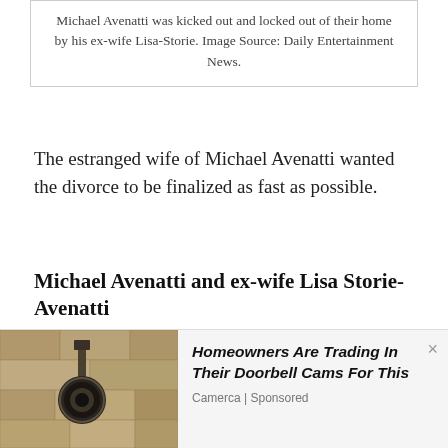Michael Avenatti was kicked out and locked out of their home by his ex-wife Lisa-Storie. Image Source: Daily Entertainment News.
The estranged wife of Michael Avenatti wanted the divorce to be finalized as fast as possible.
Michael Avenatti and ex-wife Lisa Storie-Avenatti
Ex-couple of Michael Avenatti and Lisa Storie-Avenatti married in 2011. They have a 3-year-old son whose name is not disclosed yet. Michael and his ex-wife Lisa-Storie lived a lavish life together, as the ex-pair spent thousands of dollars on MedSpa every month. Despite Lisa stating Michael to be verbally aggressive and other allegations, the exact reason behind the divorce is still
[Figure (photo): Outdoor wall-mounted light fixture/camera, advertisement image]
Homeowners Are Trading In Their Doorbell Cams For This
Camerca | Sponsored